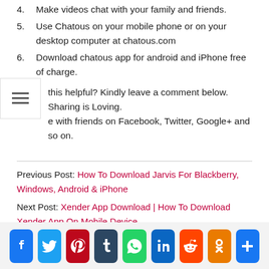4. Make videos chat with your family and friends.
5. Use Chatous on your mobile phone or on your desktop computer at chatous.com
6. Download chatous app for android and iPhone free of charge.
...this helpful? Kindly leave a comment below. Sharing is Loving. ...e with friends on Facebook, Twitter, Google+ and so on.
Previous Post: How To Download Jarvis For Blackberry, Windows, Android & iPhone
Next Post: Xender App Download | How To Download Xender App On Mobile Device
[Figure (infographic): Social sharing icons row: Facebook, Twitter, Pinterest, Tumblr, WhatsApp, LinkedIn, Reddit, Odnoklassniki, Share/Plus]